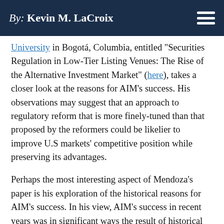By: Kevin M. LaCroix
University in Bogotá, Columbia, entitled "Securities Regulation in Low-Tier Listing Venues: The Rise of the Alternative Investment Market" (here), takes a closer look at the reasons for AIM's success. His observations may suggest that an approach to regulatory reform that is more finely-tuned than that proposed by the reformers could be likelier to improve U.S markets' competitive position while preserving its advantages.
Perhaps the most interesting aspect of Mendoza's paper is his exploration of the historical reasons for AIM's success. In his view, AIM's success in recent years was in significant ways the result of historical circumstance. The failure of the other European New Markets (such as the Neuer Markt) left a relatively